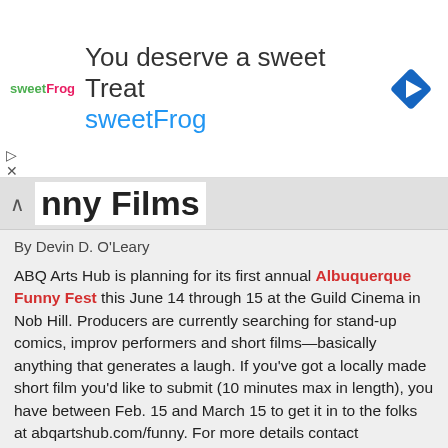[Figure (other): Advertisement banner for sweetFrog frozen yogurt: 'You deserve a sweet Treat' with sweetFrog branding and navigation arrow icon]
nny Films
By Devin D. O'Leary
ABQ Arts Hub is planning for its first annual Albuquerque Funny Fest this June 14 through 15 at the Guild Cinema in Nob Hill. Producers are currently searching for stand-up comics, improv performers and short films—basically anything that generates a laugh. If you've got a locally made short film you'd like to submit (10 minutes max in length), you have between Feb. 15 and March 15 to get it in to the folks at abqartshub.com/funny. For more details contact info@abqartshub.com
[ more >> ]
INSTITUTE OF AMERICAN INDIAN ARTS (Santa Fe)